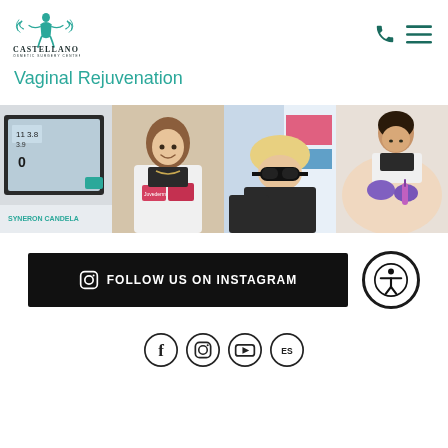[Figure (logo): Castellano Cosmetic Surgery Center logo with teal bird/figure icon above stylized text]
Vaginal Rejuvenation
[Figure (photo): Four-panel photo strip: medical device screen (Syneron Candela), female doctor in white coat holding product boxes, patient with goggles receiving laser treatment, medical professional in gloves performing procedure]
[Figure (infographic): Black banner with Instagram icon reading FOLLOW US ON INSTAGRAM, alongside a circular accessibility icon]
[Figure (infographic): Row of social media icons: Facebook, Instagram, YouTube, and another platform]